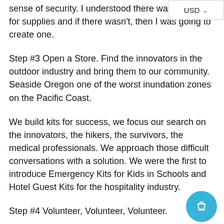sense of security. I understood there was a market for supplies and if there wasn't, then I was going to create one.
Step #3 Open a Store. Find the innovators in the outdoor industry and bring them to our community. Seaside Oregon one of the worst inundation zones on the Pacific Coast.
We build kits for success, we focus our search on the innovators, the hikers, the survivors, the medical professionals. We approach those difficult conversations with a solution. We were the first to introduce Emergency Kits for Kids in Schools and Hotel Guest Kits for the hospitality industry.
Step #4 Volunteer, Volunteer, Volunteer.
I'm currently a volunteer for SAR, Citizen Corps and CERT and Consulting Cities to grow those